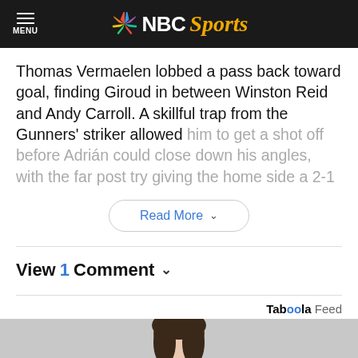NBC Sports
Thomas Vermaelen lobbed a pass back toward goal, finding Giroud in between Winston Reid and Andy Carroll. A skillful trap from the Gunners’ striker allowed him to get a shot off before Adrián could close down his angles, with the far post try giving the home side a 2-1
Read More
View 1 Comment
Taboola Feed
[Figure (photo): Bottom portion of a Taboola feed showing a person with dark hair against a pink background]